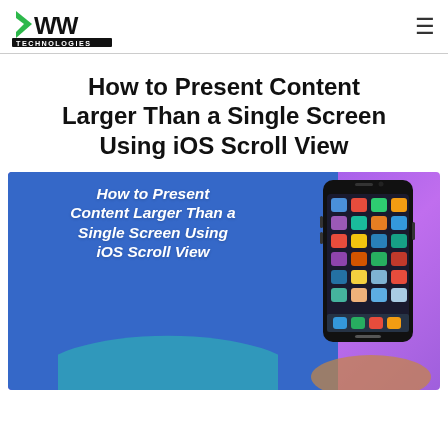4My Technologies [logo] [hamburger menu]
How to Present Content Larger Than a Single Screen Using iOS Scroll View
[Figure (illustration): Promotional banner image with blue speech-bubble background and purple gradient showing text 'How to Present Content Larger Than a Single Screen Using iOS Scroll View' with a hand holding an iPhone on the right side]